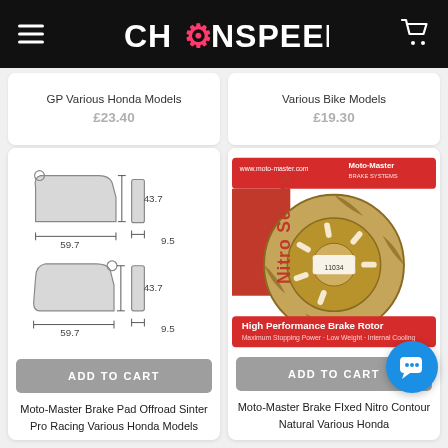Chainspeed – Navigation header with menu and cart
GP Various Honda Models £23.40
Various Bike Models £19.30
[Figure (illustration): Technical diagram of Moto-Master brake pads (Offroad Sinter Pro Racing) showing front and rear pad dimensions: 59.7mm width, 43.7mm height, 9.5mm thickness]
[Figure (photo): Moto-Master Nitro Series High Performance Brake Rotor product photo showing a wavy/contoured brake disc in packaging]
ADD TO CART
ADD TO CART
Moto-Master Brake Pad Offroad Sinter Pro Racing Various Honda Models
Moto-Master Brake Fixed Nitro Contour Natural Various Honda